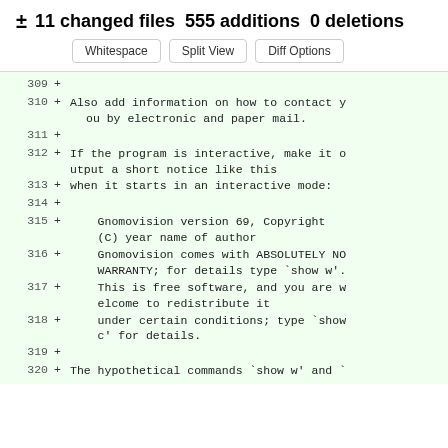± 11 changed files 555 additions 0 deletions
[Figure (screenshot): Three buttons: Whitespace, Split View, Diff Options]
309  +
310  +  Also add information on how to contact you by electronic and paper mail.
311  +
312  +  If the program is interactive, make it output a short notice like this
313  +  when it starts in an interactive mode:
314  +
315  +      Gnomovision version 69, Copyright (C) year name of author
316  +      Gnomovision comes with ABSOLUTELY NO WARRANTY; for details type `show w'.
317  +      This is free software, and you are welcome to redistribute it
318  +      under certain conditions; type `show c' for details.
319  +
320  +  The hypothetical commands `show w' and `